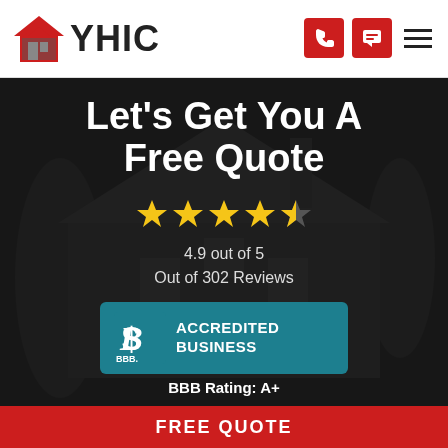[Figure (logo): YHIC logo with red house icon and bold YHIC text]
[Figure (illustration): Navigation icons: phone button (red), chat button (red), hamburger menu]
Let's Get You A Free Quote
[Figure (illustration): 4.5 star rating (4 full gold stars and 1 half star)]
4.9 out of 5
Out of 302 Reviews
[Figure (logo): BBB Accredited Business badge with teal background]
BBB Rating: A+
Member
[Figure (logo): NAHB Member logo with yellow roof icon]
National Association of Home Builders
FREE QUOTE